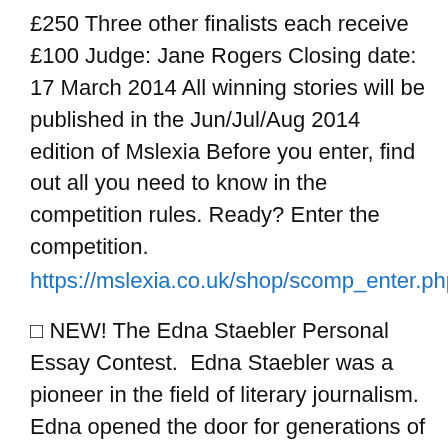£250 Three other finalists each receive £100 Judge: Jane Rogers Closing date: 17 March 2014 All winning stories will be published in the Jun/Jul/Aug 2014 edition of Mslexia Before you enter, find out all you need to know in the competition rules. Ready? Enter the competition.
https://mslexia.co.uk/shop/scomp_enter.php
☐ NEW! The Edna Staebler Personal Essay Contest.  Edna Staebler was a pioneer in the field of literary journalism.  Edna opened the door for generations of personal essayists, not just with her example but with her generosity, founding many awards, scholarships, and bursaries.  In the spirit of Edna's contributions to the genre, we are interested in essays of any length, on any topic, in which the writer's personal engagement with the topic provides the frame or through-line.   Deadline: March 28, 2014 Entry fee: $40 Prize: $1000 for one winning